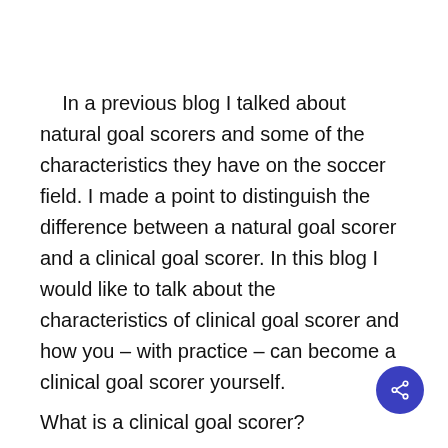In a previous blog I talked about natural goal scorers and some of the characteristics they have on the soccer field. I made a point to distinguish the difference between a natural goal scorer and a clinical goal scorer. In this blog I would like to talk about the characteristics of clinical goal scorer and how you – with practice – can become a clinical goal scorer yourself.
What is a clinical goal scorer?